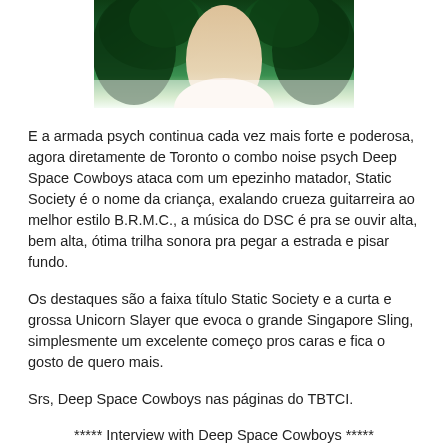[Figure (photo): Cropped photo of a person with green feathery or fluffy hair/costume, visible from the top portion of the page]
E a armada psych continua cada vez mais forte e poderosa, agora diretamente de Toronto o combo noise psych Deep Space Cowboys ataca com um epezinho matador, Static Society é o nome da criança, exalando crueza guitarreira ao melhor estilo B.R.M.C., a música do DSC é pra se ouvir alta, bem alta, ótima trilha sonora pra pegar a estrada e pisar fundo.
Os destaques são a faixa título Static Society e a curta e grossa Unicorn Slayer que evoca o grande Singapore Sling, simplesmente um excelente começo pros caras e fica o gosto de quero mais.
Srs, Deep Space Cowboys nas páginas do TBTCI.
***** Interview with Deep Space Cowboys *****